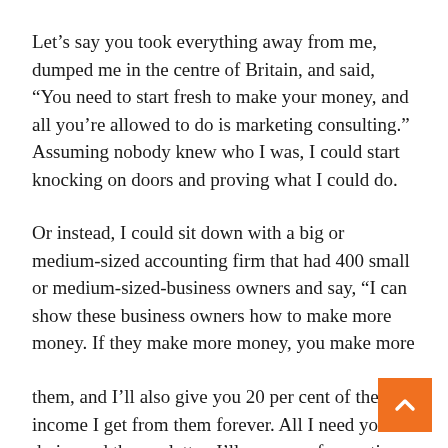Let's say you took everything away from me, dumped me in the centre of Britain, and said, “You need to start fresh to make your money, and all you’re allowed to do is marketing consulting.” Assuming nobody knew who I was, I could start knocking on doors and proving what I could do.
Or instead, I could sit down with a big or medium-sized accounting firm that had 400 small or medium-sized-business owners and say, “I can show these business owners how to make more money. If they make more money, you make more
them, and I’ll also give you 20 per cent of the income I get from them forever. All I need you to do is send them a letter. I’ll even pay for posting the letter to them. Send them email too.” If we were in a local area, I could say, “Get t